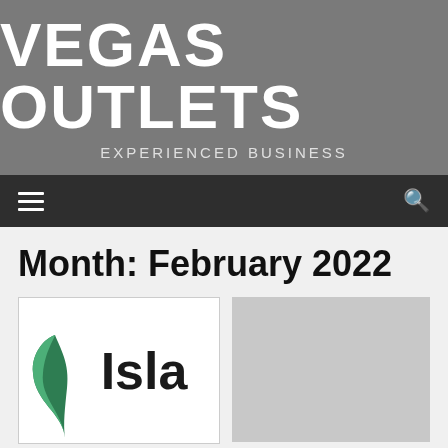VEGAS OUTLETS
EXPERIENCED BUSINESS
Month: February 2022
[Figure (logo): Isla logo with green leaf icon on the left and 'Isla' text in dark bold font on white background]
[Figure (photo): Light gray placeholder thumbnail image]